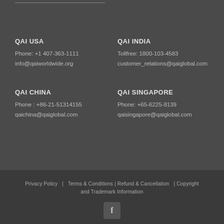QAI USA
Phone: +1 407-363-1111
info@qaiworldwide.org
QAI INDIA
Tollfree: 1800-103-4583
customer_relations@qaiglobal.com
QAI CHINA
Phone : +86-21-51314155
qaichina@qaiglobal.com
QAI SINGAPORE
Phone: +65-6225-8139
qaisingapore@qaiglobal.com
Privacy Policy  |  Terms & Conditions | Refund & Cancellation  | Copyright and Trademark Information